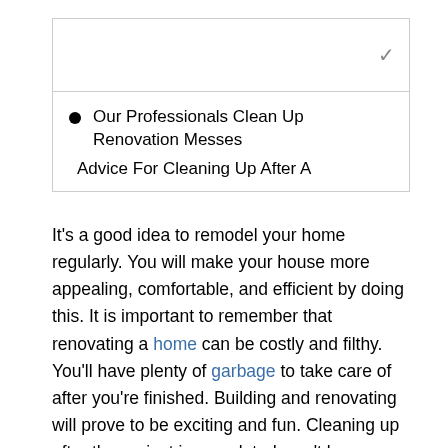Our Professionals Clean Up Renovation Messes
Advice For Cleaning Up After A
It's a good idea to remodel your home regularly. You will make your house more appealing, comfortable, and efficient by doing this. It is important to remember that renovating a home can be costly and filthy. You'll have plenty of garbage to take care of after you're finished. Building and renovating will prove to be exciting and fun. Cleaning up after the project is completed won't be an issue.